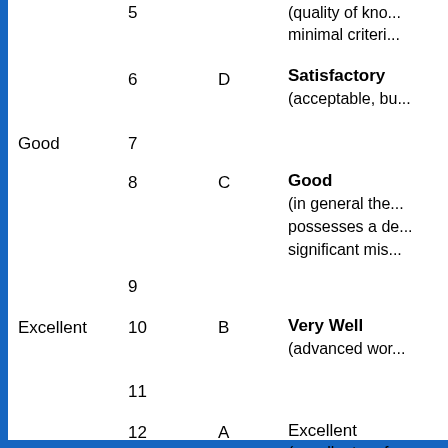| Category | Score | Grade | Description |
| --- | --- | --- | --- |
|  | 5 |  | (quality of kno... minimal criteri... |
|  | 6 | D | Satisfactory
(acceptable, bu... |
| Good | 7 |  |  |
|  | 8 | C | Good
(in general the... possesses a de... significant mis... |
|  | 9 |  |  |
| Excellent | 10 | B | Very Well
(advanced wor... |
|  | 11 |  |  |
|  | 12 | A | Excellent
(excellent perf... negligible amo... |